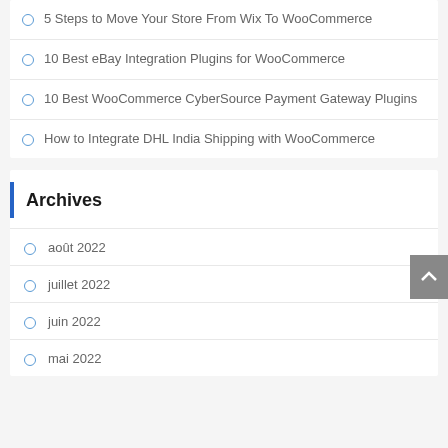5 Steps to Move Your Store From Wix To WooCommerce
10 Best eBay Integration Plugins for WooCommerce
10 Best WooCommerce CyberSource Payment Gateway Plugins
How to Integrate DHL India Shipping with WooCommerce
Archives
août 2022
juillet 2022
juin 2022
mai 2022